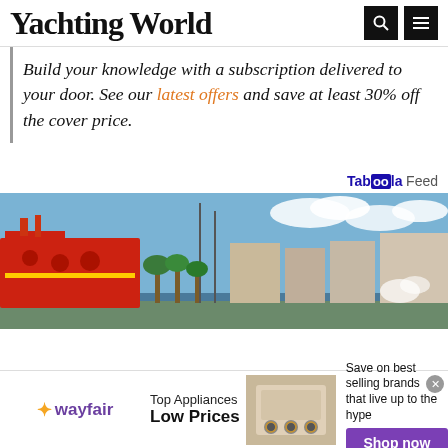Yachting World
Build your knowledge with a subscription delivered to your door. See our latest offers and save at least 30% off the cover price.
Taboola Feed
[Figure (photo): Harbor scene with a red rescue/coast guard vessel on the left, sailboat masts visible, palm trees and waterfront buildings in the background under a partly cloudy blue sky.]
[Figure (photo): Wayfair advertisement banner: Top Appliances Low Prices, Save on best selling brands that live up to the hype, Shop now button, with appliance image.]